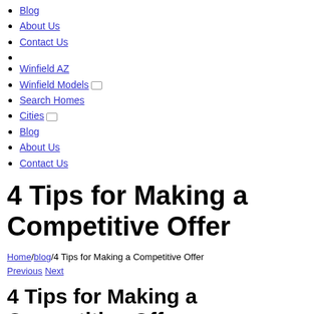Blog
About Us
Contact Us
Winfield AZ
Winfield Models
Search Homes
Cities
Blog
About Us
Contact Us
4 Tips for Making a Competitive Offer
Home/blog/4 Tips for Making a Competitive Offer Previous Next
4 Tips for Making a Competitive Offer